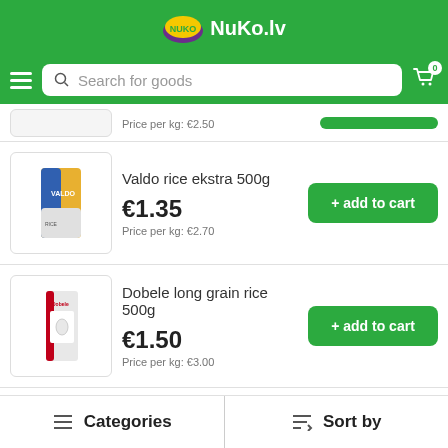NuKo.lv
Search for goods
Price per kg: €2.50
Valdo rice ekstra 500g
€1.35
Price per kg: €2.70
Dobele long grain rice 500g
€1.50
Price per kg: €3.00
Valdo rice parboiled 500g
Categories  Sort by